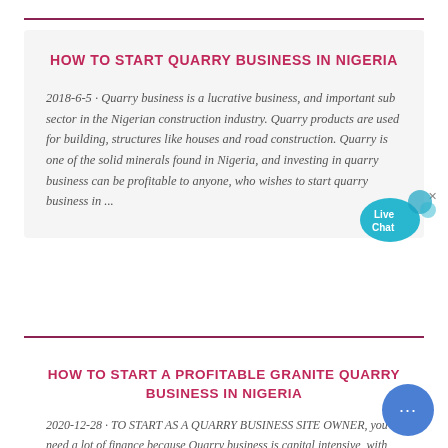HOW TO START QUARRY BUSINESS IN NIGERIA
2018-6-5 · Quarry business is a lucrative business, and important sub sector in the Nigerian construction industry. Quarry products are used for building, structures like houses and road construction. Quarry is one of the solid minerals found in Nigeria, and investing in quarry business can be profitable to anyone, who wishes to start quarry business in ...
HOW TO START A PROFITABLE GRANITE QUARRY BUSINESS IN NIGERIA
2020-12-28 · TO START AS A QUARRY BUSINESS SITE OWNER, you need a lot of finance because Quarry business is capital intensive, with about no ...